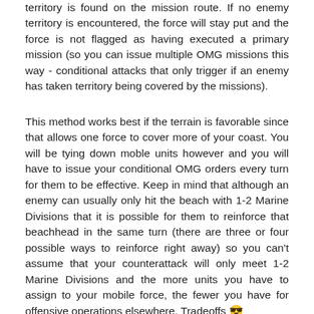territory is found on the mission route. If no enemy territory is encountered, the force will stay put and the force is not flagged as having executed a primary mission (so you can issue multiple OMG missions this way - conditional attacks that only trigger if an enemy has taken territory being covered by the missions).
This method works best if the terrain is favorable since that allows one force to cover more of your coast. You will be tying down moble units however and you will have to issue your conditional OMG orders every turn for them to be effective. Keep in mind that although an enemy can usually only hit the beach with 1-2 Marine Divisions that it is possible for them to reinforce that beachhead in the same turn (there are three or four possible ways to reinforce right away) so you can't assume that your counterattack will only meet 1-2 Marine Divisions and the more units you have to assign to your mobile force, the fewer you have for offensive operations elsewhere. Tradeoffs 😎
Russ